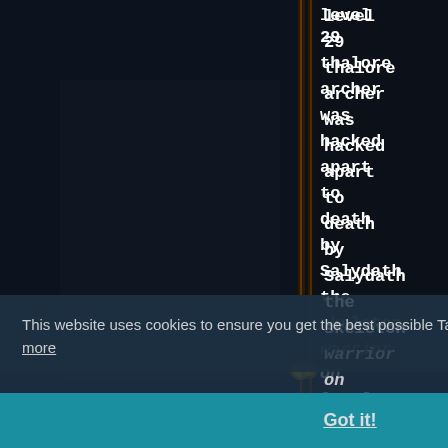[Figure (screenshot): Screenshot of Tales of Maj'Eyal game showing a dark dungeon scene with vertical decorative lines/pillars]
level 29 thalore archer was hacked apart to death by Salydath the skeleton warrior on level 4 of Ruined halfling complex.
This website uses cookies to ensure you get the best possible Tales of Maj'Eyal experience. Learn more
Got it!